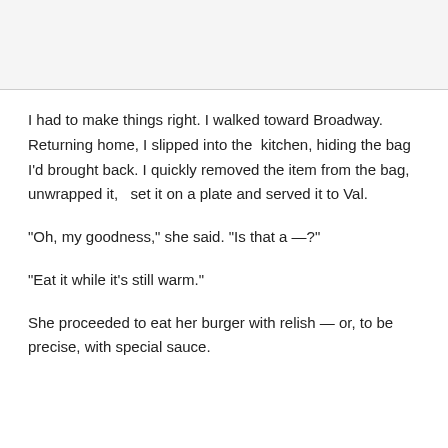I had to make things right. I walked toward Broadway. Returning home, I slipped into the  kitchen, hiding the bag I'd brought back. I quickly removed the item from the bag, unwrapped it,  set it on a plate and served it to Val.
"Oh, my goodness," she said. "Is that a —?"
"Eat it while it's still warm."
She proceeded to eat her burger with relish — or, to be precise, with special sauce.